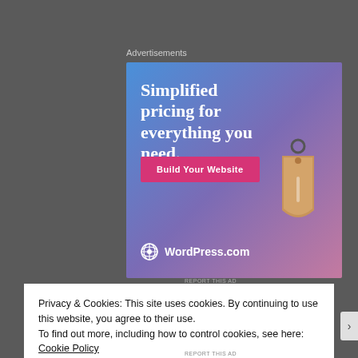Advertisements
[Figure (illustration): WordPress.com advertisement banner. Blue-to-purple-to-pink gradient background. Headline: 'Simplified pricing for everything you need.' Pink CTA button: 'Build Your Website'. 3D price tag illustration on right. WordPress.com logo at bottom left.]
REPORT THIS AD
Privacy & Cookies: This site uses cookies. By continuing to use this website, you agree to their use.
To find out more, including how to control cookies, see here: Cookie Policy
Close and accept
REPORT THIS AD